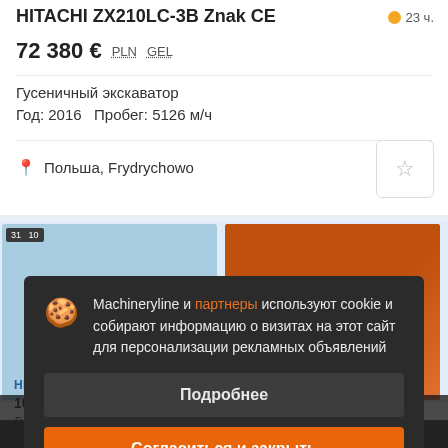HITACHI ZX210LC-3B znak CE
72 380 €  PLN  GEL
Гусеничный экскаватор
Год: 2016   Пробег: 5126 м/ч
Польша, Frydrychowo
[Figure (screenshot): Cookie consent modal overlay on machinery listing website. Cookie icon with text: Machineryline и партнеры используют cookie и собирают информацию о визитах на этот сайт для персонализации рекламных объявлений. Two buttons: Подробнее and Согласиться и закрыть (orange).]
HITACHI ZX210LC-3B CE
10...
Гусеничный экскаватор; Евро: Euro 4
Год: 2016   Пробег: 1056...